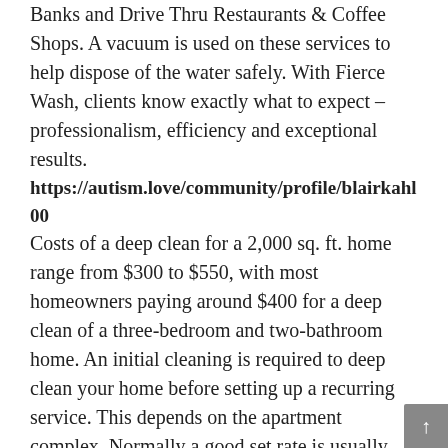Banks and Drive Thru Restaurants & Coffee Shops. A vacuum is used on these services to help dispose of the water safely. With Fierce Wash, clients know exactly what to expect – professionalism, efficiency and exceptional results.
https://autism.love/community/profile/blairkahl00
Costs of a deep clean for a 2,000 sq. ft. home range from $300 to $550, with most homeowners paying around $400 for a deep clean of a three-bedroom and two-bathroom home. An initial cleaning is required to deep clean your home before setting up a recurring service. This depends on the apartment complex. Normally a good set rate is usually between $75 – $95 (estimated at 3.5-4.5 hours) and then add a portion of the contract when extra services are needed to do deep cleaning and have a base amount per hour that you